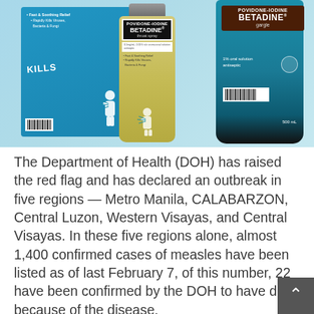[Figure (photo): Product photo showing Betadine Povidone-Iodine products: a blue box and throat spray bottle on the left, and a large Betadine gargle 1% oral solution antiseptic 500mL bottle on the right against a light blue background.]
The Department of Health (DOH) has raised the red flag and has declared an outbreak in five regions — Metro Manila, CALABARZON, Central Luzon, Western Visayas, and Central Visayas. In these five regions alone, almost 1,400 confirmed cases of measles have been listed as of last February 7, of this number, 22 have been confirmed by the DOH to have died because of the disease.